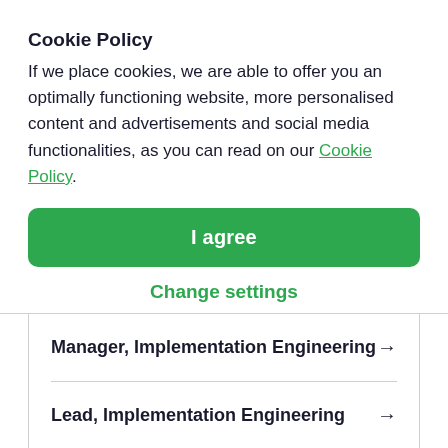Cookie Policy
If we place cookies, we are able to offer you an optimally functioning website, more personalised content and advertisements and social media functionalities, as you can read on our Cookie Policy.
I agree
Change settings
Manager, Implementation Engineering →
Lead, Implementation Engineering →